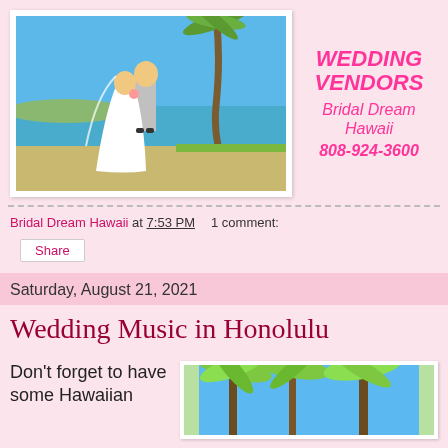[Figure (photo): Wedding couple kissing on a beach with palm tree, blue ocean and sky in background]
WEDDING VENDORS
Bridal Dream Hawaii
808-924-3600
Bridal Dream Hawaii at 7:53 PM    1 comment:
Share
Saturday, August 21, 2021
Wedding Music in Honolulu
Don't forget to have some Hawaiian
[Figure (photo): Tropical palm trees viewed from below against blue sky]